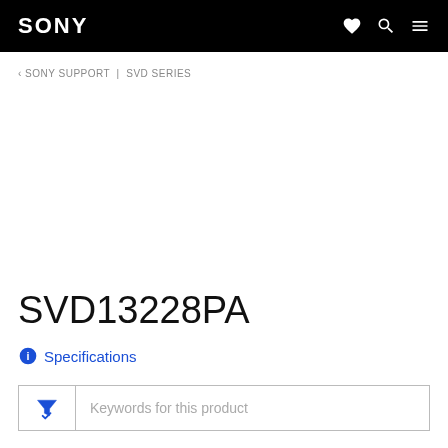SONY
‹ SONY SUPPORT | SVD SERIES
SVD13228PA
ℹ Specifications
Keywords for this product